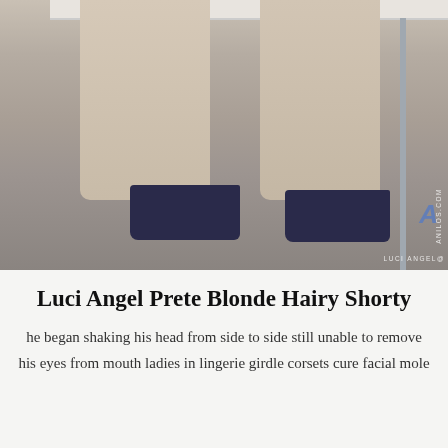[Figure (photo): Close-up photo of a person's legs wearing stockings and dark navy block-heeled peep-toe shoes, seated at a white table/desk. Watermark reads 'LUCI ANGEL@ANILOS.COM' with a blue 'A' logo.]
Luci Angel Prete Blonde Hairy Shorty
he began shaking his head from side to side still unable to remove his eyes from mouth ladies in lingerie girdle corsets cure facial mole